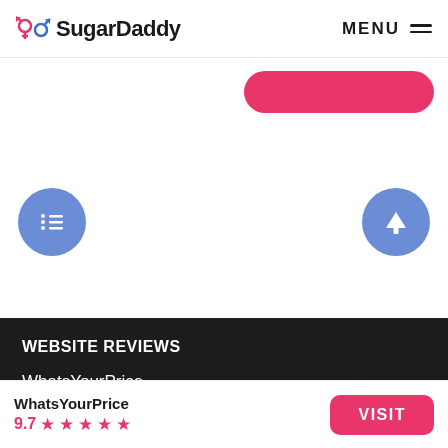SugarDaddy — MENU
[Figure (screenshot): Partial pink button visible at top right of white area above fold]
[Figure (other): Two circular blue buttons: left has list/menu icon, right has up-arrow icon]
WEBSITE REVIEWS
WhatsYourPrice
SecretBenefits
AshleyMadison
SugarDaddyMeet
WhatsYourPrice 9.7 ★★★★★  VISIT